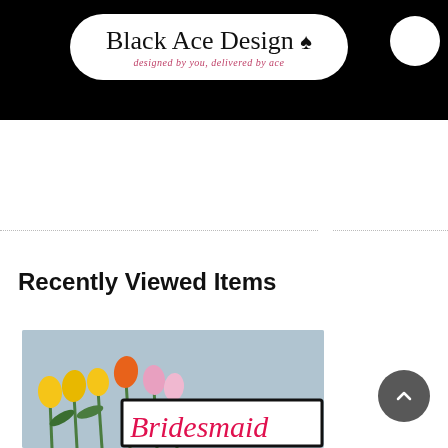Black Ace Design — designed by you, delivered by ace
Recently Viewed Items
[Figure (photo): Photo of colorful tulips (yellow, orange, pink) with a sign reading 'Bridesmaid' in pink script on a white background with black border.]